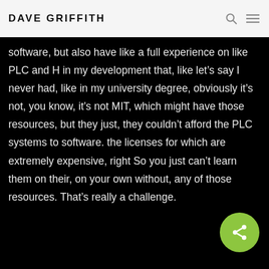DAVE GRIFFITH
software, but also have like a full experience on like PLC and H in my development that, like let’s say I never had, like in my university degree, obviously it’s not, you know, it’s not MIT, which might have those resources, but they just, they couldn’t afford the PLC systems to software. the licenses for which are extremely expensive, right So you just can’t learn them on their, on your own without, any of those resources. That’s really a challenge.